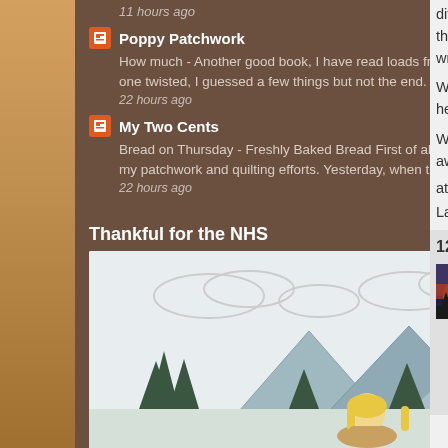11 hours ago
Poppy Patchwork
How much - Another good book, I have read loads from this author, he always delivers a good story, this one twisted, I guessed a few things but not the end. Book 72...
22 hours ago
My Two Cents
Bread on Thursday - Freshly Baked Bread First of all, thank you, everyone, for your kind comments about my patchwork and quilting efforts. Yesterday, when the weather fore...
22 hours ago
Show All
Thankful for the NHS
[Figure (illustration): Illustration of a person with blonde hair sitting and looking at mountains with pine trees and clouds]
different from our m this year. We'll hav wrapped but they a
What this year has here in the bloggin
Wishing you all a h awful.
at December 24, 2...
Labels: Annie, Blo...
12 comments:
Jayne D
Take ca somethi
I know e long co conditio and she